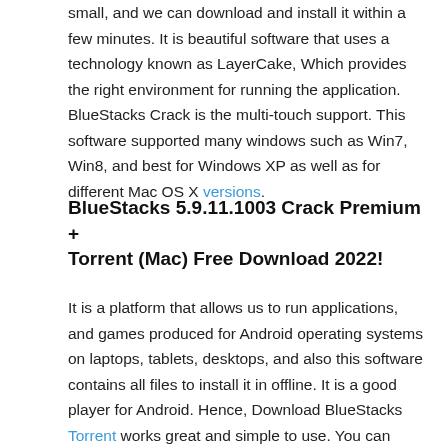small, and we can download and install it within a few minutes. It is beautiful software that uses a technology known as LayerCake, Which provides the right environment for running the application. BlueStacks Crack is the multi-touch support. This software supported many windows such as Win7, Win8, and best for Windows XP as well as for different Mac OS X versions.
BlueStacks 5.9.11.1003 Crack Premium + Torrent (Mac) Free Download 2022!
It is a platform that allows us to run applications, and games produced for Android operating systems on laptops, tablets, desktops, and also this software contains all files to install it in offline. It is a good player for Android. Hence, Download BlueStacks Torrent works great and simple to use. You can enjoy the games and videos on a big screen like Mac and laptop. Because it's the best work every person can enjoy it so much. You can use it at any time as